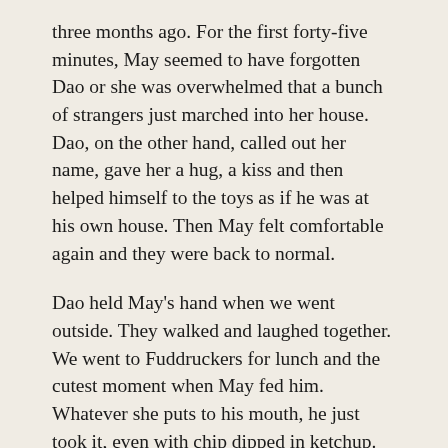three months ago. For the first forty-five minutes, May seemed to have forgotten Dao or she was overwhelmed that a bunch of strangers just marched into her house. Dao, on the other hand, called out her name, gave her a hug, a kiss and then helped himself to the toys as if he was at his own house. Then May felt comfortable again and they were back to normal.
Dao held May's hand when we went outside. They walked and laughed together. We went to Fuddruckers for lunch and the cutest moment when May fed him. Whatever she puts to his mouth, he just took it, even with chip dipped in ketchup. After lunch we headed toward Port Discovery.
This time I took Samantha and Eric along. Not